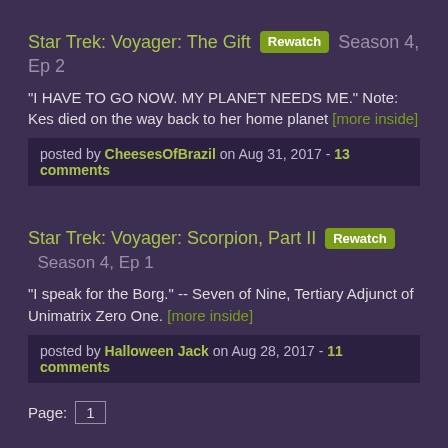Star Trek: Voyager: The Gift [Rewatch] Season 4, Ep 2
"I HAVE TO GO NOW. MY PLANET NEEDS ME." Note: Kes died on the way back to her home planet [more inside]
posted by CheesesOfBrazil on Aug 31, 2017 - 13 comments
Star Trek: Voyager: Scorpion, Part II [Rewatch] Season 4, Ep 1
"I speak for the Borg." -- Seven of Nine, Tertiary Adjunct of Unimatrix Zero One. [more inside]
posted by Halloween Jack on Aug 28, 2017 - 11 comments
Page: 1